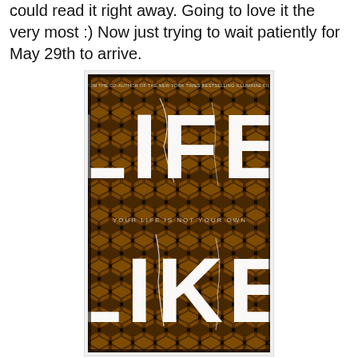could read it right away. Going to love it the very most :) Now just trying to wait patiently for May 29th to arrive.
[Figure (photo): Book cover of 'Life Like' with a dark honeycomb pattern background in black and amber/gold tones, large cracked white text reading 'LIFE LIKE', tagline 'YOUR LIFE IS NOT YOUR OWN', and top text 'FROM THE CO-AUTHOR OF THE NEW YORK TIMES BESTSELLING ILLUMINAE FILES']